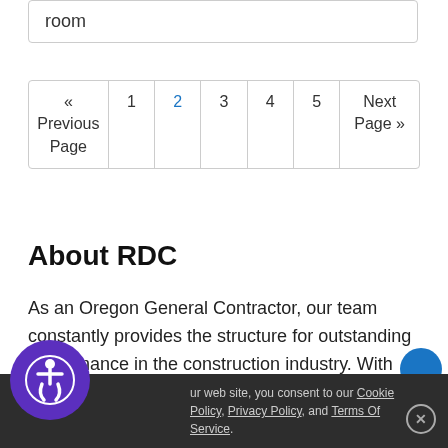room
| « Previous Page | 1 | 2 | 3 | 4 | 5 | Next Page » |
About RDC
As an Oregon General Contractor, our team constantly provides the structure for outstanding performance in the construction industry. With
ur website, you consent to our Cookie Policy, Privacy Policy, and Terms Of Service.